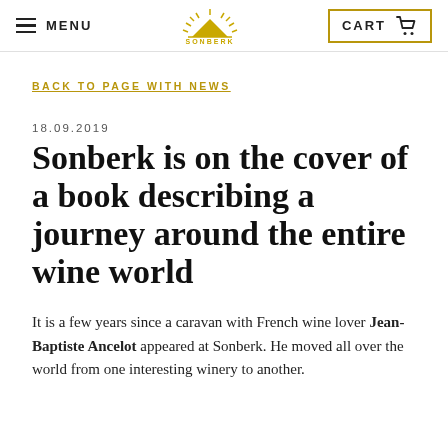MENU  [Sonberk logo]  CART
BACK TO PAGE WITH NEWS
18.09.2019
Sonberk is on the cover of a book describing a journey around the entire wine world
It is a few years since a caravan with French wine lover Jean-Baptiste Ancelot appeared at Sonberk. He moved all over the world from one interesting winery to another.